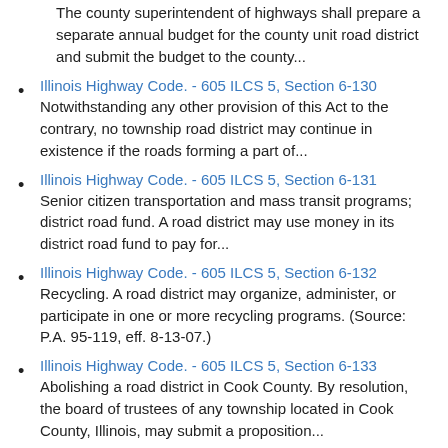The county superintendent of highways shall prepare a separate annual budget for the county unit road district and submit the budget to the county...
Illinois Highway Code. - 605 ILCS 5, Section 6-130
Notwithstanding any other provision of this Act to the contrary, no township road district may continue in existence if the roads forming a part of...
Illinois Highway Code. - 605 ILCS 5, Section 6-131
Senior citizen transportation and mass transit programs; district road fund. A road district may use money in its district road fund to pay for...
Illinois Highway Code. - 605 ILCS 5, Section 6-132
Recycling. A road district may organize, administer, or participate in one or more recycling programs. (Source: P.A. 95-119, eff. 8-13-07.)
Illinois Highway Code. - 605 ILCS 5, Section 6-133
Abolishing a road district in Cook County. By resolution, the board of trustees of any township located in Cook County, Illinois, may submit a proposition...
Division 2. Functions and Compensation of District